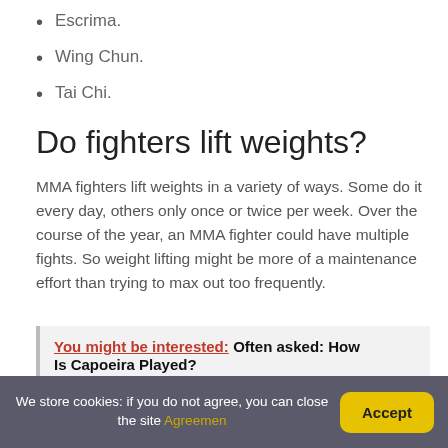Escrima.
Wing Chun.
Tai Chi.
Do fighters lift weights?
MMA fighters lift weights in a variety of ways. Some do it every day, others only once or twice per week. Over the course of the year, an MMA fighter could have multiple fights. So weight lifting might be more of a maintenance effort than trying to max out too frequently.
You might be interested:  Often asked: How Is Capoeira Played?
We store cookies: if you do not agree, you can close the site Agreemen